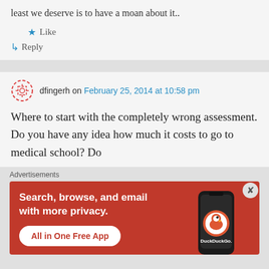least we deserve is to have a moan about it..
Like
Reply
dfingerh on February 25, 2014 at 10:58 pm
Where to start with the completely wrong assessment. Do you have any idea how much it costs to go to medical school? Do
[Figure (infographic): DuckDuckGo advertisement banner: orange/red background with white text 'Search, browse, and email with more privacy.' and a white button 'All in One Free App', plus a phone image with DuckDuckGo logo on the right.]